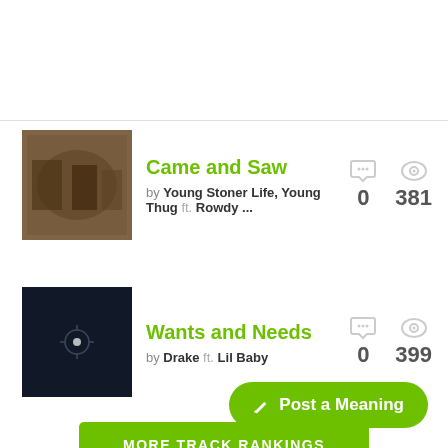Came and Saw by Young Stoner Life, Young Thug ft. Rowdy ... 0 381
Wants and Needs by Drake ft. Lil Baby 0 399
MORE TRACK RANKINGS
Post a Meaning